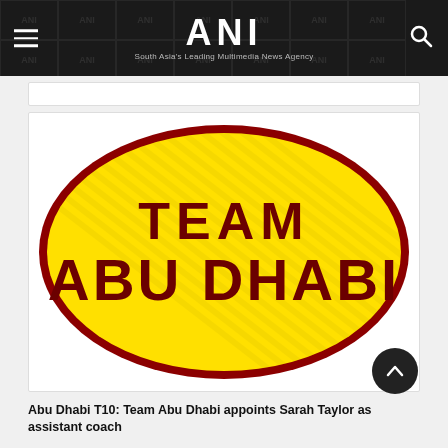ANI — South Asia's Leading Multimedia News Agency
[Figure (logo): Team Abu Dhabi cricket team logo — yellow oval with thick red border, text 'TEAM ABU DHABI' in dark red bold font on yellow background with diagonal stripe pattern]
Abu Dhabi T10: Team Abu Dhabi appoints Sarah Taylor as assistant coach